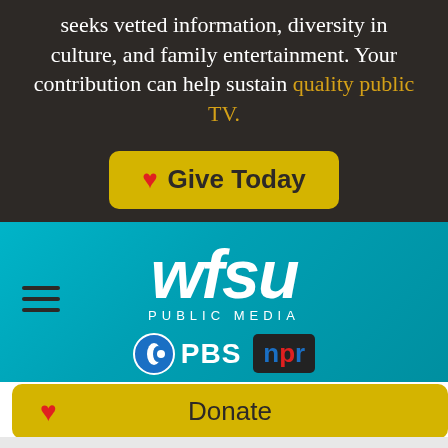seeks vetted information, diversity in culture, and family entertainment. Your contribution can help sustain quality public TV.
[Figure (other): Yellow 'Give Today' button with red heart icon]
[Figure (logo): WFSU Public Media logo in white italic text on teal gradient background, with PBS and NPR logos below]
[Figure (other): Yellow Donate bar with red heart icon on left and 'Donate' text centered]